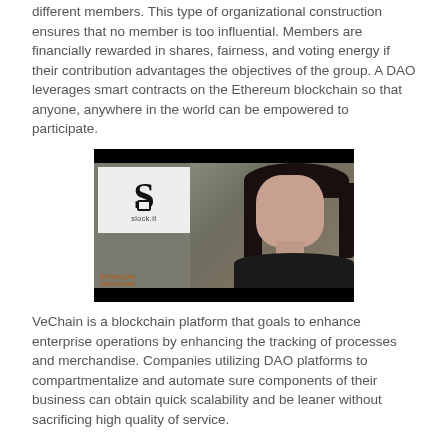different members. This type of organizational construction ensures that no member is too influential. Members are financially rewarded in shares, fairness, and voting energy if their contribution advantages the objectives of the group. A DAO leverages smart contracts on the Ethereum blockchain so that anyone, anywhere in the world can be empowered to participate.
[Figure (photo): Video thumbnail showing a woman in front of a stone/gravel background. On the left is the slock.it logo (letter S with a padlock icon) on a light background. Lower left has orange text overlay reading 'ETHEREUM SPECTRUM' or similar. The woman has dark hair and is wearing a black top.]
VeChain is a blockchain platform that goals to enhance enterprise operations by enhancing the tracking of processes and merchandise. Companies utilizing DAO platforms to compartmentalize and automate sure components of their business can obtain quick scalability and be leaner without sacrificing high quality of service.